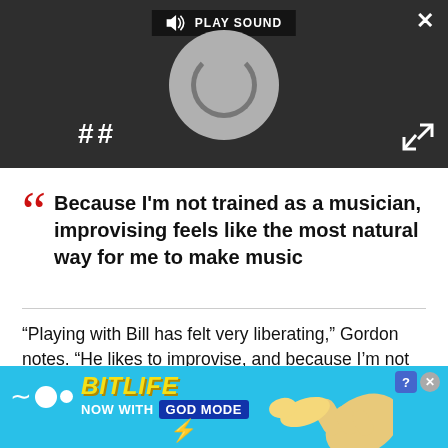[Figure (screenshot): Media player UI with dark background, PLAY SOUND button at top, circular vinyl/loading spinner graphic, pause button (||), close X button top right, expand arrows bottom right]
Because I'm not trained as a musician, improvising feels like the most natural way for me to make music
“Playing with Bill has felt very liberating,” Gordon notes. “He likes to improvise, and because I’m not trained as a musician, that feels like the most natural way for me to make music.”
[Figure (screenshot): BitLife advertisement banner: blue background, BitLife logo in yellow italic text, 'NOW WITH GOD MODE' text, cartoon hand pointing, question mark and X close buttons]